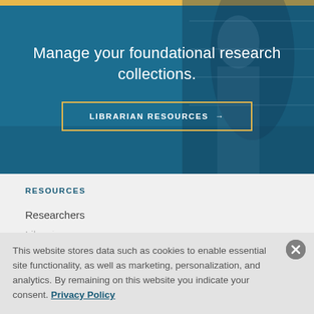[Figure (photo): Blue-toned hero banner with library/researcher background image overlaid with semi-transparent blue, featuring centered white text and a gold-bordered button]
Manage your foundational research collections.
LIBRARIAN RESOURCES →
RESOURCES
Researchers
This website stores data such as cookies to enable essential site functionality, as well as marketing, personalization, and analytics. By remaining on this website you indicate your consent. Privacy Policy